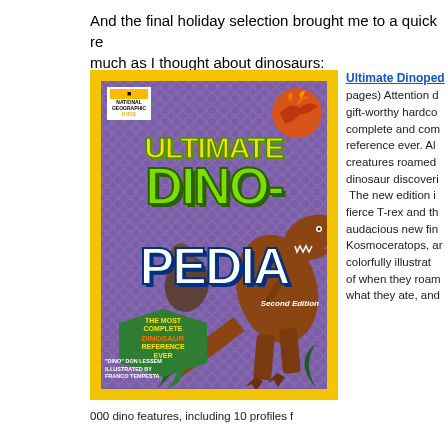And the final holiday selection brought me to a quick re much as I thought about dinosaurs:
[Figure (photo): Book cover of 'Ultimate Dinopedia Second Edition' by National Geographic Kids. Yellow border with purple background. Shows dinosaurs including T-rex. Text reads 'THE MOST COMPLETE DINOSAUR REFERENCE EVER' by 'Dino' Don Lessem, illustrated by Franco Tempesta.]
Ultimate Dinoped pages) Attention d gift-worthy hardco complete and com reference ever. Al creatures roamed dinosaur discoveri The new edition i fierce T-rex and th audacious new fin Kosmoceratops, ar colorfully illustrat of when they roam what they ate, and
000 dino features, including 10 profiles f